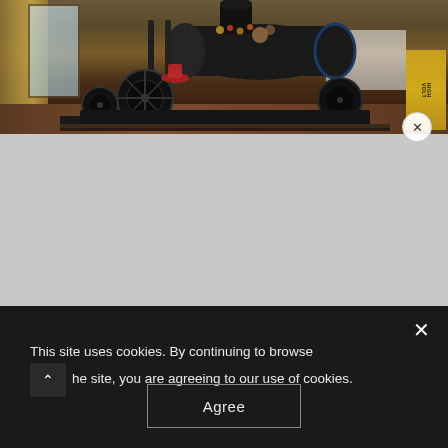[Figure (photo): Interior room photo showing a large black vintage steam engine or locomotive machine as a bed frame, with gold/yellow curtains on the left, a window, wooden floor, white bedding behind the machine, and a yellow 'HIGH VOLTAGE' box on the right side. A circular close (X) button is visible in the lower-right of the image.]
This site uses cookies. By continuing to browse the site, you are agreeing to our use of cookies.
Agree